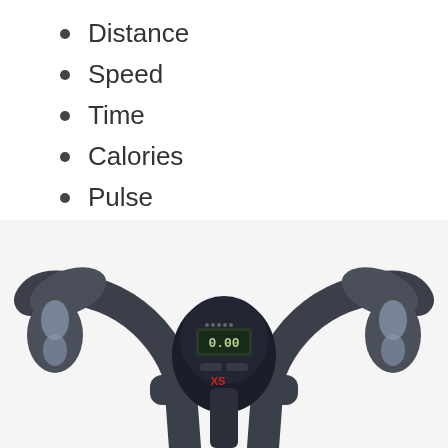Distance
Speed
Time
Calories
Pulse
[Figure (photo): Top-down view of an exercise bike handlebar with a central computer display showing 0.00 and XS branding, with heart rate sensor grips on both sides.]